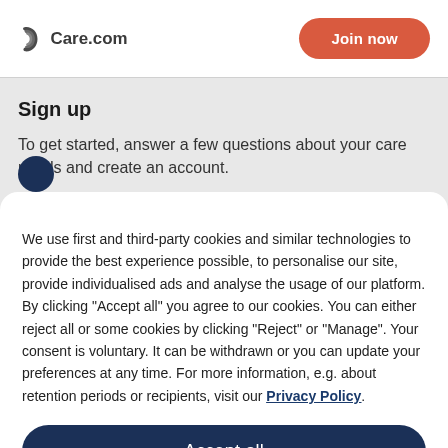[Figure (logo): Care.com logo with stylized C icon in dark grey]
Join now
Sign up
To get started, answer a few questions about your care needs and create an account.
We use first and third-party cookies and similar technologies to provide the best experience possible, to personalise our site, provide individualised ads and analyse the usage of our platform. By clicking "Accept all" you agree to our cookies. You can either reject all or some cookies by clicking "Reject" or "Manage". Your consent is voluntary. It can be withdrawn or you can update your preferences at any time. For more information, e.g. about retention periods or recipients, visit our Privacy Policy.
Accept all
Reject
Manage